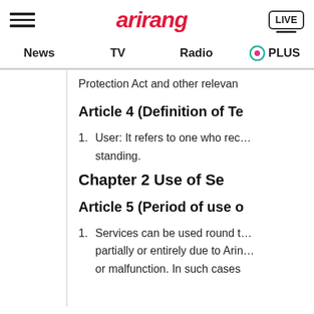arirang | News | TV | Radio | PLUS
Protection Act and other relevan
Article 4 (Definition of Te
1. User: It refers to one who rec… standing.
Chapter 2 Use of Se
Article 5 (Period of use o
1. Services can be used round t… partially or entirely due to Arin… or malfunction. In such cases